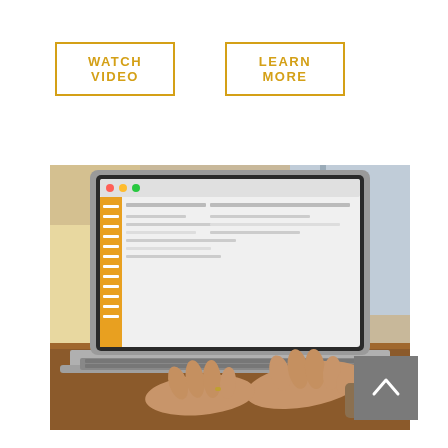WATCH VIDEO
LEARN MORE
[Figure (photo): Person typing on a MacBook laptop placed on a wooden desk, with the laptop screen showing a software interface with a yellow sidebar. The background shows a bright window and blurred cafe-like environment.]
[Figure (other): Back to top button: a grey square with a white upward-pointing chevron arrow icon.]